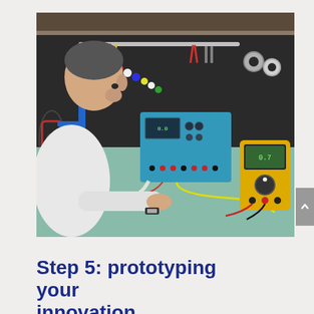[Figure (photo): A person in a white lab coat leans closely over an electronics workbench, examining wiring. On the bench are a blue oscilloscope/power supply unit with multiple cable connections, and a yellow multimeter (Fluke-style). The background shows a pegboard wall with various tools: pliers, scissors, screwdrivers, and rolls of tape. The person is wearing a watch.]
Step 5: prototyping your innovation